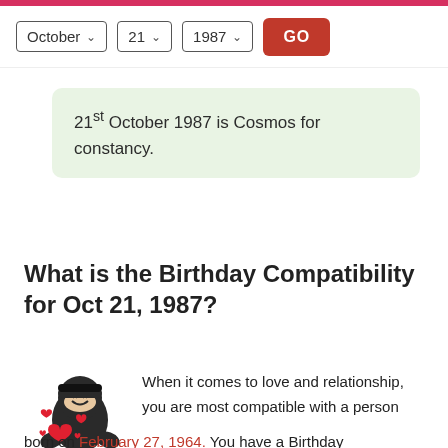October 21 1987 GO
21st October 1987 is Cosmos for constancy.
What is the Birthday Compatibility for Oct 21, 1987?
[Figure (illustration): Ninja cartoon character holding red hearts]
When it comes to love and relationship, you are most compatible with a person born on February 27, 1964. You have a Birthday Compatibility score of +212.